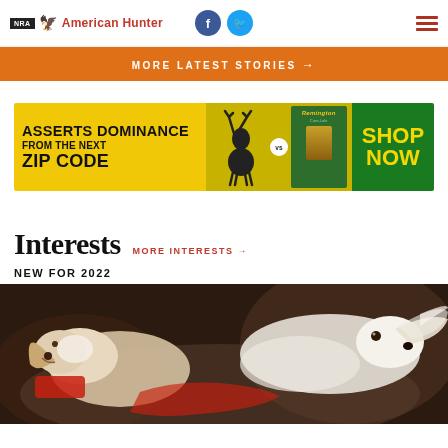NRA American Hunter — navigation bar with logo, Facebook and Twitter icons, hamburger menu
MORE LATEST STORIES →
[Figure (illustration): Remington ammunition advertisement: 'Asserts Dominance From The Next Zip Code' with deer graphic, Remington box, and 'Shop Now' button on green background]
Interests
MORE INTERESTS →
NEW FOR 2022
[Figure (photo): Close-up photo of two hunting dogs in action, possibly bird dogs, with one appearing to retrieve, against a blurred outdoor background]